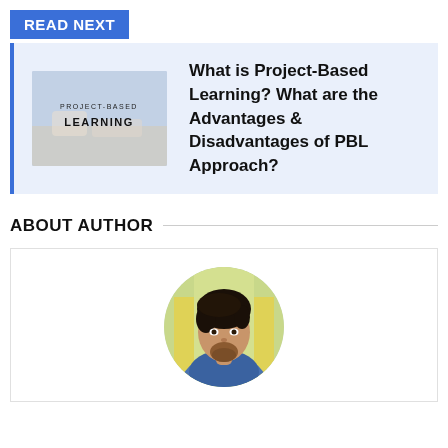READ NEXT
[Figure (photo): Thumbnail image with text PROJECT-BASED LEARNING written over a photo of hands on a table]
What is Project-Based Learning? What are the Advantages & Disadvantages of PBL Approach?
ABOUT AUTHOR
[Figure (photo): Circular portrait photo of a young man with dark hair wearing a denim jacket, photographed in front of a yellow background]